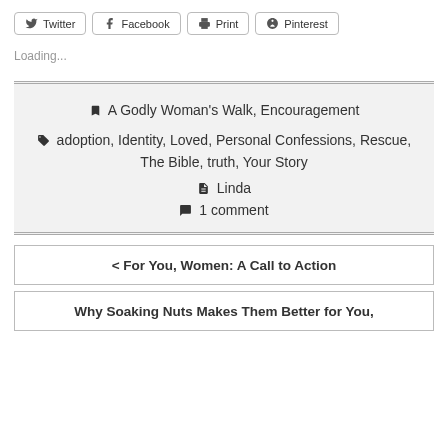[Figure (other): Social share buttons: Twitter, Facebook, Print, Pinterest]
Loading...
A Godly Woman's Walk, Encouragement
adoption, Identity, Loved, Personal Confessions, Rescue, The Bible, truth, Your Story
Linda
1 comment
< For You, Women: A Call to Action
Why Soaking Nuts Makes Them Better for You,